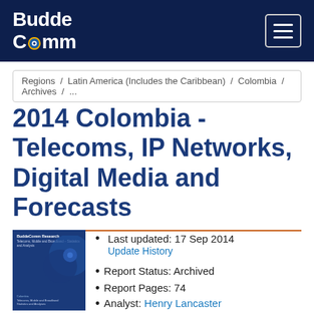BuddeComm
Regions / Latin America (Includes the Caribbean) / Colombia / Archives / ...
2014 Colombia - Telecoms, IP Networks, Digital Media and Forecasts
[Figure (illustration): BuddeComm Research report cover image with blue background and eye/swirl logo, text: BuddeComm Research, Telecoms, Mobile and Broadband - Statistics and Analysis]
Last updated: 17 Sep 2014
Update History
Report Status: Archived
Report Pages: 74
Analyst: Henry Lancaster